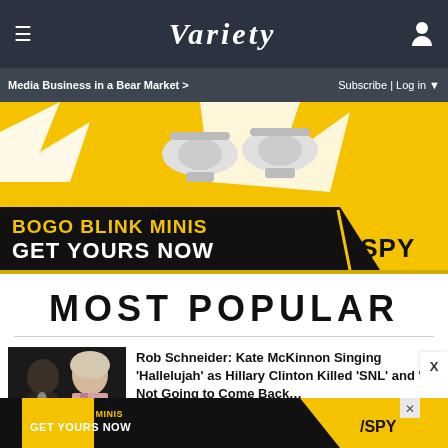≡  VARIETY  👤
Media Business in a Bear Market >   Subscribe | Log in ▼
[Figure (infographic): Advertisement banner: BOGO BLINK MINIS GET YOURS NOW /SPY — yellow background with white security cameras illustration]
MOST POPULAR
[Figure (photo): Thumbnail image of Rob Schneider and Hillary Clinton (Kate McKinnon)]
Rob Schneider: Kate McKinnon Singing 'Hallelujah' as Hillary Clinton Killed 'SNL' and 'It's Not Going to Come Back…
[Figure (infographic): Advertisement banner bottom: BOGO BLINK MINIS GET YOURS NOW /SPY]